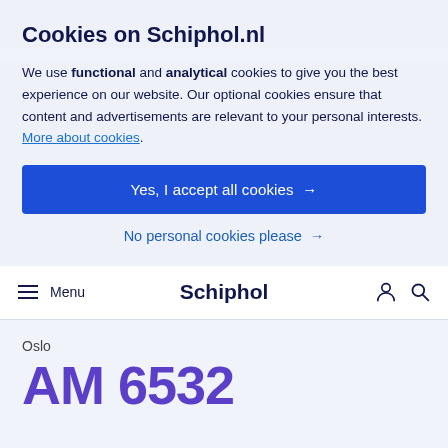Cookies on Schiphol.nl
We use functional and analytical cookies to give you the best experience on our website. Our optional cookies ensure that content and advertisements are relevant to your personal interests. More about cookies.
Yes, I accept all cookies →
No personal cookies please →
Menu   Schiphol
Oslo
AM 6532